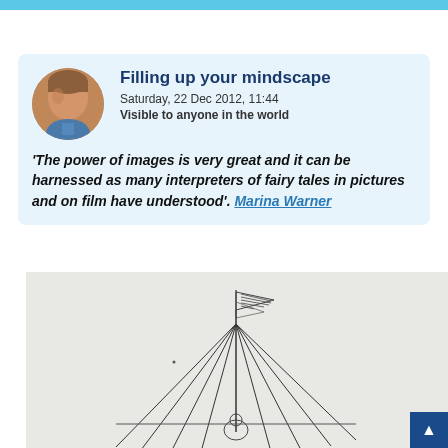Filling up your mindscape
Saturday, 22 Dec 2012, 11:44
Visible to anyone in the world
'The power of images is very great and it can be harnessed as many interpreters of fairy tales in pictures and on film have understood'. Marina Warner
[Figure (illustration): Line drawing illustration of a tent or teepee structure with a flag on top, lines extending outward from the peak, and a figure at the base. Black ink on light grey background.]